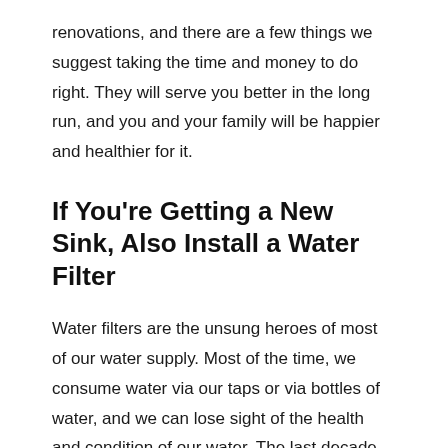renovations, and there are a few things we suggest taking the time and money to do right. They will serve you better in the long run, and you and your family will be happier and healthier for it.
If You're Getting a New Sink, Also Install a Water Filter
Water filters are the unsung heroes of most of our water supply. Most of the time, we consume water via our taps or via bottles of water, and we can lose sight of the health and condition of our water. The last decade was met with innovations and demand for cleaner water, but that only ended with particular companies rising to meet the demand for water filters. In particular, Brita has heavily impacted the field with their consistent, new technology, and a name